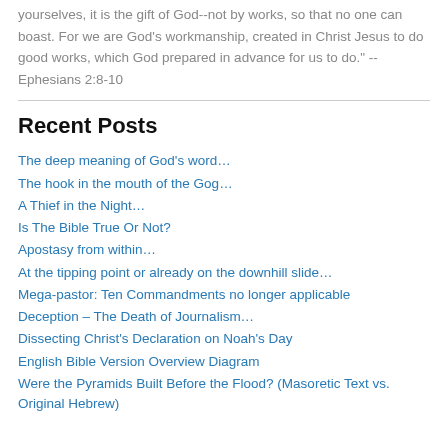yourselves, it is the gift of God--not by works, so that no one can boast. For we are God's workmanship, created in Christ Jesus to do good works, which God prepared in advance for us to do." -- Ephesians 2:8-10
Recent Posts
The deep meaning of God's word…
The hook in the mouth of the Gog…
A Thief in the Night…
Is The Bible True Or Not?
Apostasy from within…
At the tipping point or already on the downhill slide…
Mega-pastor: Ten Commandments no longer applicable
Deception – The Death of Journalism…
Dissecting Christ's Declaration on Noah's Day
English Bible Version Overview Diagram
Were the Pyramids Built Before the Flood? (Masoretic Text vs. Original Hebrew)